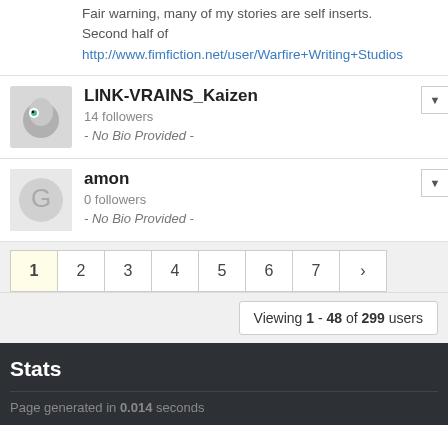Fair warning, many of my stories are self inserts. Second half of http://www.fimfiction.net/user/Warfire+Writing+Studios
LINK-VRAINS_Kaizen
14 followers
- No Bio Provided -
amon
0 followers
- No Bio Provided -
1 2 3 4 5 6 7 >
Viewing 1 - 48 of 299 users
Stats
Page generated in 0.014 seconds